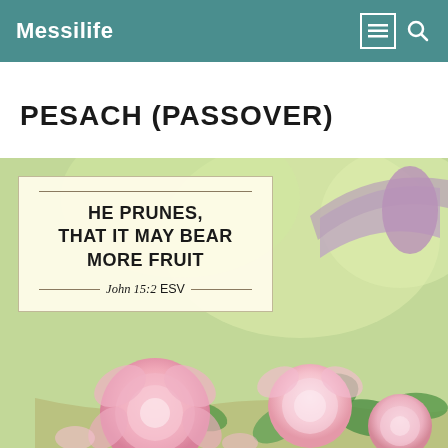Messilife
PESACH (PASSOVER)
[Figure (photo): A basket of pink roses in a garden setting, with an overlay card quoting John 15:2 ESV: 'He prunes, that it may bear more fruit']